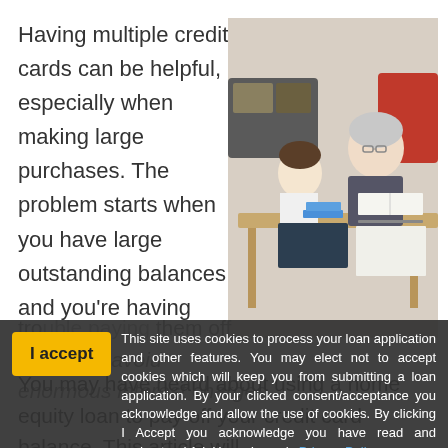Having multiple credit cards can be helpful, especially when making large purchases. The problem starts when you have large outstanding balances, and you're having tro
[Figure (photo): Elderly woman with glasses and a young boy sitting at a table with books and school supplies, studying together]
quickly to avoid enormous interest charges.
This site uses cookies to process your loan application and other features. You may elect not to accept cookies which will keep you from submitting a loan application. By your clicked consent/acceptance you acknowledge and allow the use of cookies. By clicking I Accept you acknowledge you have read and understand Ark Home Loans's Privacy Policy.
You may have heard about using a home equity loan to pay off your credit card balance. This article will